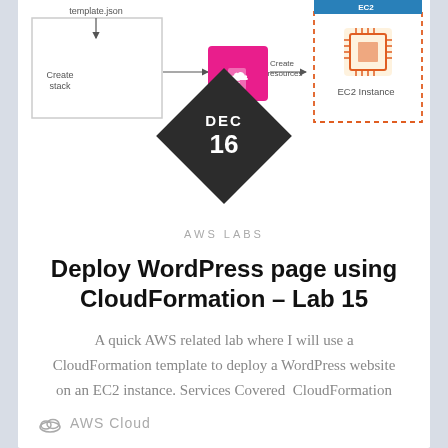[Figure (flowchart): AWS CloudFormation architecture diagram showing template.json flowing to Create stack, then to CloudFormation service icon, then Create resources arrow pointing to EC2 Instance (in dashed orange border box). A date badge (DEC 16) overlays the diagram.]
AWS LABS
Deploy WordPress page using CloudFormation – Lab 15
A quick AWS related lab where I will use a CloudFormation template to deploy a WordPress website on an EC2 instance. Services Covered  CloudFormation Lab...
[Figure (illustration): AWS Cloud label with cloud icon at the bottom of the page]